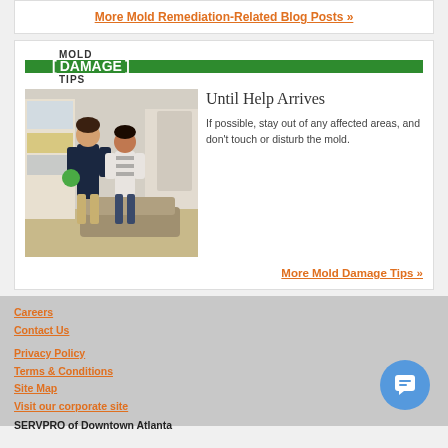More Mold Remediation-Related Blog Posts »
[Figure (infographic): MOLD DAMAGE TIPS header with green bar, photo of SERVPRO technician and homeowner, and tip text]
Until Help Arrives
If possible, stay out of any affected areas, and don't touch or disturb the mold.
More Mold Damage Tips »
Careers
Contact Us
Privacy Policy
Terms & Conditions
Site Map
Visit our corporate site
SERVPRO of Downtown Atlanta